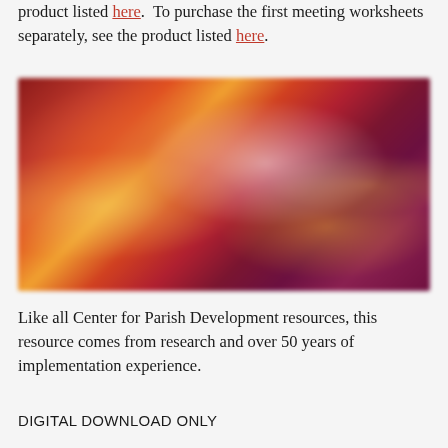product listed here.  To purchase the first meeting worksheets separately, see the product listed here.
[Figure (photo): A blurred, colorful abstract image with warm reds, oranges, yellows, and purples — likely a bokeh food or candle photograph used as decorative imagery for a parish development resource.]
Like all Center for Parish Development resources, this resource comes from research and over 50 years of implementation experience.
DIGITAL DOWNLOAD ONLY